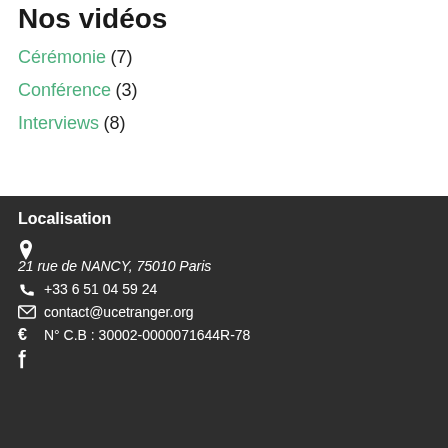Nos vidéos
Cérémonie (7)
Conférence (3)
Interviews (8)
Localisation
21 rue de NANCY, 75010 Paris
+33 6 51 04 59 24
contact@ucetranger.org
N° C.B : 30002-0000071644R-78